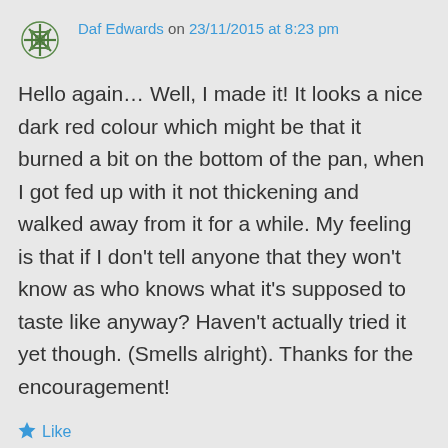Daf Edwards on 23/11/2015 at 8:23 pm
Hello again… Well, I made it! It looks a nice dark red colour which might be that it burned a bit on the bottom of the pan, when I got fed up with it not thickening and walked away from it for a while. My feeling is that if I don't tell anyone that they won't know as who knows what it's supposed to taste like anyway? Haven't actually tried it yet though. (Smells alright). Thanks for the encouragement!
Like